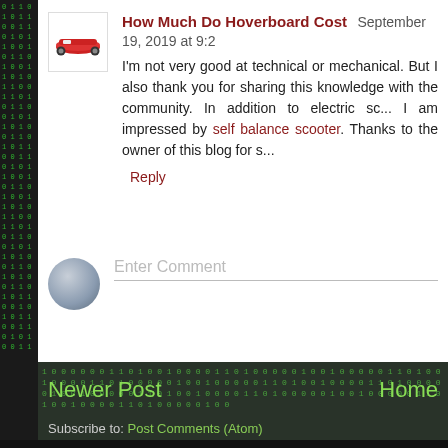How Much Do Hoverboard Cost  September 19, 2019 at 9:2...
I'm not very good at technical or mechanical. But I also thank you for sharing this knowledge with the community. In addition to electric scooters, I am impressed by self balance scooter. Thanks to the owner of this blog for s...
Reply
[Figure (other): Enter Comment input box with grey user avatar icon]
Do Follow me on Facebook & like us!
[Figure (other): Navigation footer with green binary code background showing Newer Post and Home links, and Subscribe to: Post Comments (Atom)]
Newer Post
Home
Subscribe to: Post Comments (Atom)